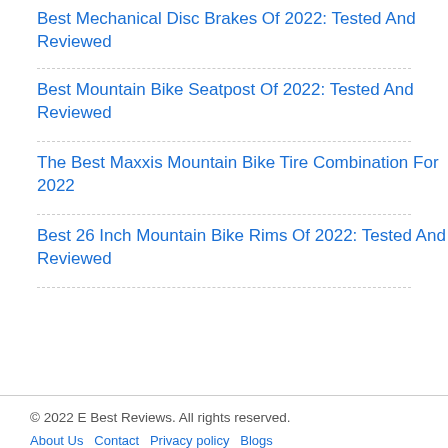Best Mechanical Disc Brakes Of 2022: Tested And Reviewed
Best Mountain Bike Seatpost Of 2022: Tested And Reviewed
The Best Maxxis Mountain Bike Tire Combination For 2022
Best 26 Inch Mountain Bike Rims Of 2022: Tested And Reviewed
© 2022 E Best Reviews. All rights reserved.
About Us  Contact  Privacy policy  Blogs